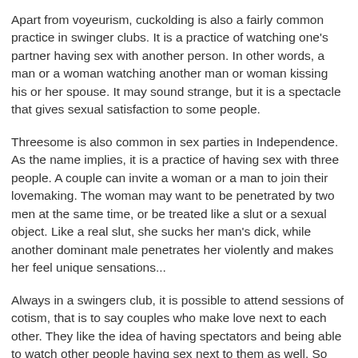Apart from voyeurism, cuckolding is also a fairly common practice in swinger clubs. It is a practice of watching one's partner having sex with another person. In other words, a man or a woman watching another man or woman kissing his or her spouse. It may sound strange, but it is a spectacle that gives sexual satisfaction to some people.
Threesome is also common in sex parties in Independence. As the name implies, it is a practice of having sex with three people. A couple can invite a woman or a man to join their lovemaking. The woman may want to be penetrated by two men at the same time, or be treated like a slut or a sexual object. Like a real slut, she sucks her man's dick, while another dominant male penetrates her violently and makes her feel unique sensations...
Always in a swingers club, it is possible to attend sessions of cotism, that is to say couples who make love next to each other. They like the idea of having spectators and being able to watch other people having sex next to them as well. So you don't have to be modest if you want to feel comfortable in a place like this. You